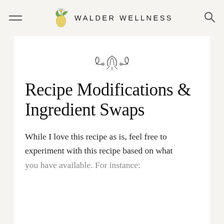WALDER WELLNESS
[Figure (illustration): Decorative floral/leaf ornament divider]
Recipe Modifications & Ingredient Swaps
While I love this recipe as is, feel free to experiment with this recipe based on what you have available. For instance: